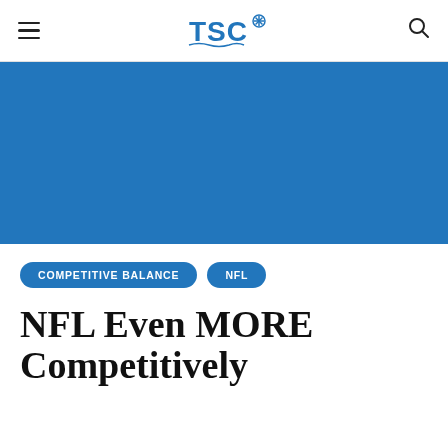TSC (logo)
[Figure (illustration): Blue rectangular hero image banner area]
COMPETITIVE BALANCE
NFL
NFL Even MORE Competitively